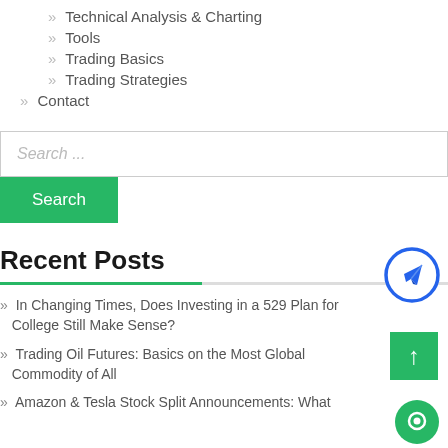» Technical Analysis & Charting
» Tools
» Trading Basics
» Trading Strategies
» Contact
Search ...
Search
Recent Posts
» In Changing Times, Does Investing in a 529 Plan for College Still Make Sense?
» Trading Oil Futures: Basics on the Most Global Commodity of All
» Amazon & Tesla Stock Split Announcements: What